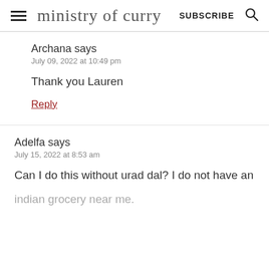ministry of curry  SUBSCRIBE
Archana says
July 09, 2022 at 10:49 pm
Thank you Lauren
Reply
Adelfa says
July 15, 2022 at 8:53 am
Can I do this without urad dal? I do not have an indian grocery near me.